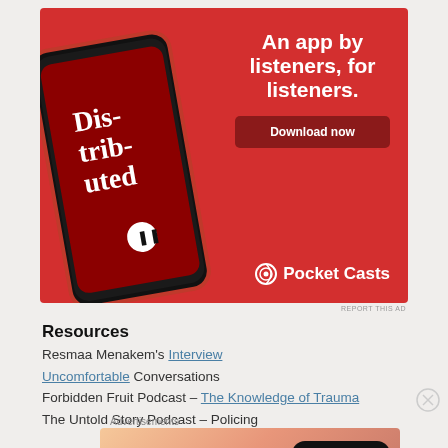[Figure (illustration): Pocket Casts podcast app advertisement banner on red background. Shows a smartphone with the 'Distributed' podcast episode displayed on screen. Text reads 'An app by listeners, for listeners.' with a 'Download now' button and Pocket Casts logo at bottom right.]
REPORT THIS AD
Resources
Resmaa Menakem's Interview Uncomfortable Conversations
Forbidden Fruit Podcast – The Knowledge of Trauma
The Untold Story Podcast – Policing
Advertisements
[Figure (illustration): WordPress VIP advertisement with a Learn more button on an orange/peach gradient background.]